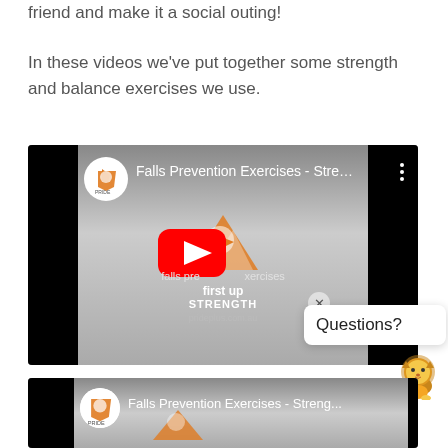friend and make it a social outing!
In these videos we've put together some strength and balance exercises we use.
[Figure (screenshot): YouTube video thumbnail for 'Falls Prevention Exercises - Streng...' with a play button, channel logo, and text: falls prevention exercises, first up, STRENGTH, prideplus.com.au]
[Figure (screenshot): Second YouTube video thumbnail for 'Falls Prevention Exercises - Streng...' partially visible at bottom of page, with channel logo and logo graphic]